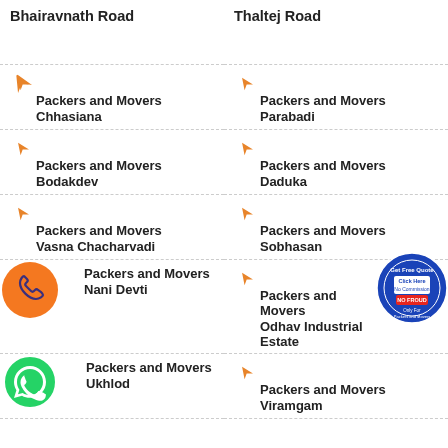Bhairavnath Road
Thaltej Road
Packers and Movers Chhasiana
Packers and Movers Parabadi
Packers and Movers Bodakdev
Packers and Movers Daduka
Packers and Movers Vasna Chacharvadi
Packers and Movers Sobhasan
Packers and Movers Nani Devti
Packers and Movers Odhav Industrial Estate
Packers and Movers Ukhlod
Packers and Movers Viramgam
[Figure (logo): Orange phone call badge icon]
[Figure (logo): Green WhatsApp badge icon]
[Figure (logo): Blue circular stamp: Get Free Quote, Click Here, No Commission, No Froud, Only For Packers and Movers]